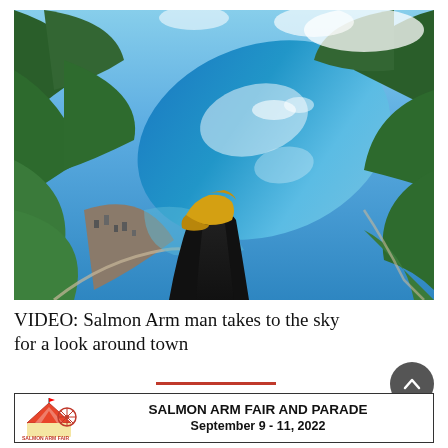[Figure (photo): Aerial paragliding photo looking down at a lake and forested town (Salmon Arm), with the paraglider's legs and yellow boots visible in the foreground.]
VIDEO: Salmon Arm man takes to the sky for a look around town
[Figure (other): Advertisement banner for Salmon Arm Fair and Parade, September 9–11, 2022, with fair logo on the left.]